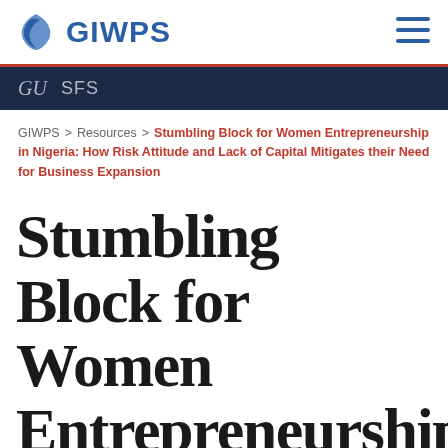GIWPS
GU  SFS
GIWPS > Resources > Stumbling Block for Women Entrepreneurship in Nigeria: How Risk Attitude and Lack of Capital Mitigates their Need for Business Expansion
Stumbling Block for Women Entrepreneurship